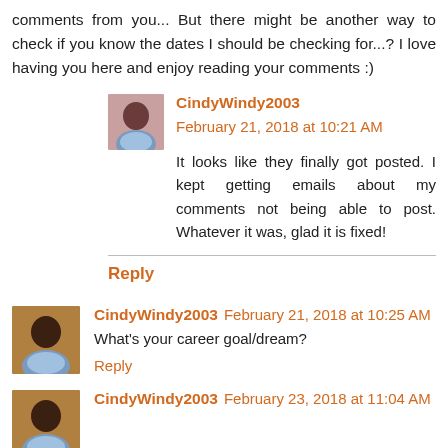comments from you... But there might be another way to check if you know the dates I should be checking for...? I love having you here and enjoy reading your comments :)
CindyWindy2003 February 21, 2018 at 10:21 AM
It looks like they finally got posted. I kept getting emails about my comments not being able to post. Whatever it was, glad it is fixed!
Reply
CindyWindy2003 February 21, 2018 at 10:25 AM
What's your career goal/dream?
Reply
CindyWindy2003 February 23, 2018 at 11:04 AM